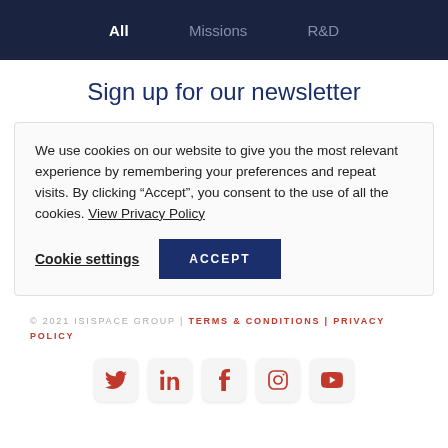All   Missions   R&D
Sign up for our newsletter
We use cookies on our website to give you the most relevant experience by remembering your preferences and repeat visits. By clicking “Accept”, you consent to the use of all the cookies. View Privacy Policy
Cookie settings   ACCEPT
© 2021 ISISPACE GROUP | TERMS & CONDITIONS | PRIVACY POLICY
[Figure (other): Social media icons: Twitter, LinkedIn, Facebook, Instagram, YouTube]